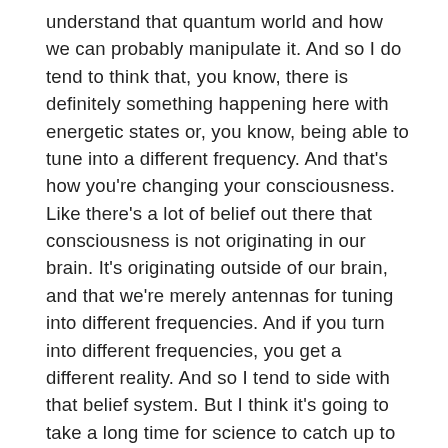understand that quantum world and how we can probably manipulate it. And so I do tend to think that, you know, there is definitely something happening here with energetic states or, you know, being able to tune into a different frequency. And that's how you're changing your consciousness. Like there's a lot of belief out there that consciousness is not originating in our brain. It's originating outside of our brain, and that we're merely antennas for tuning into different frequencies. And if you turn into different frequencies, you get a different reality. And so I tend to side with that belief system. But I think it's going to take a long time for science to catch up to understand. But but I'm really excited with the work that we're doing because I think psychedelics is going to be the gateway to really understanding the human brain, the human condition, a lot better than anything else out there.